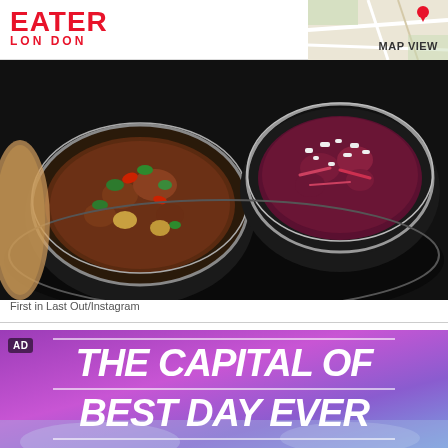EATER LONDON | MAP VIEW
[Figure (photo): Overhead view of Indian food in steel bowls on a tray — curry with mint and vegetables on left, beet salad with white cheese on right]
First in Last Out/Instagram
[Figure (infographic): Advertisement banner with purple-to-blue gradient background. Large bold italic white text reads: THE CAPITAL OF BEST DAY EVER, with decorative horizontal lines above and below each line of text. AD badge in upper left corner.]